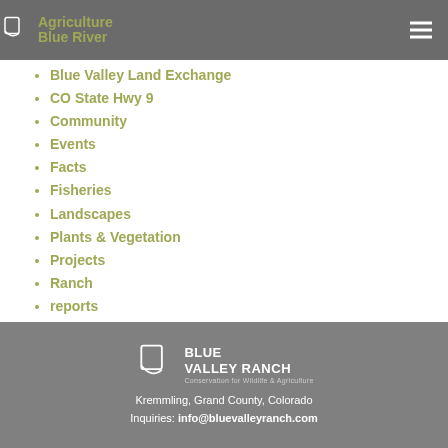Agriculture / Blue River
Blue Valley Land Exchange
CO State Hwy 9
Community
Events
Facts
Fisheries
Landscapes
Plants & Vegetation
Projects
Ranch
reports
Wildlife
Blue Valley Ranch - Conservation for Wildlife & Agriculture
Kremmling, Grand County, Colorado
Inquiries: info@bluevalleyranch.com